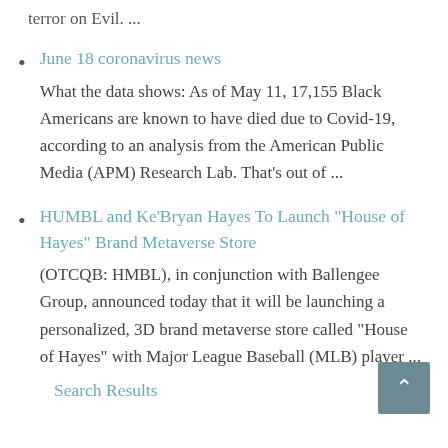terror on Evil. ...
June 18 coronavirus news
What the data shows: As of May 11, 17,155 Black Americans are known to have died due to Covid-19, according to an analysis from the American Public Media (APM) Research Lab. That's out of ...
HUMBL and Ke'Bryan Hayes To Launch "House of Hayes" Brand Metaverse Store
(OTCQB: HMBL), in conjunction with Ballengee Group, announced today that it will be launching a personalized, 3D brand metaverse store called "House of Hayes" with Major League Baseball (MLB) player ...
Search Results